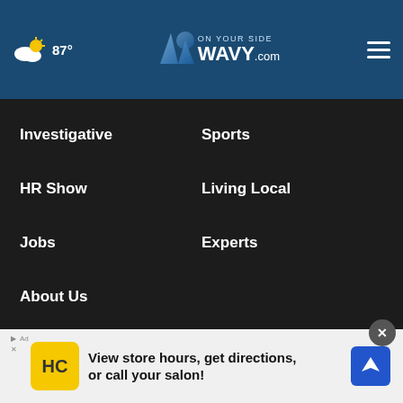87° WAVY.com On Your Side
Investigative
Sports
HR Show
Living Local
Jobs
Experts
About Us
About Our Ads
WAVY: FCC Public File
EEO Report
Children's TV Report
WVBT: FCC Public File
WVBT EEO Report
[Figure (infographic): Advertisement banner: 'View store hours, get directions, or call your salon!' with HC logo and navigation arrow icon]